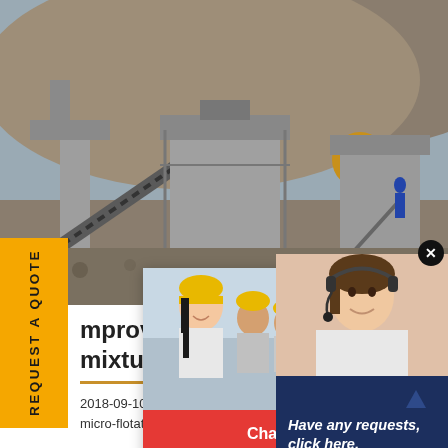[Figure (photo): Mining/crushing machinery plant with conveyor belts and large industrial equipment against a rocky hillside background]
REQUEST A QUOTE
[Figure (screenshot): Live chat popup overlay showing workers in yellow hard hats, LIVE CHAT heading in red, 'Click for a Free Consultation' subtext, and Chat now / Chat later buttons]
Improving coal flotation by mixture of candle soot
2018-09-10 · All flotation tests were conducted in a micro-flotation cell with the impeller s
[Figure (screenshot): Customer service popup with woman wearing headset on dark blue background, 'Have any requests, click here.' text and Quotation button]